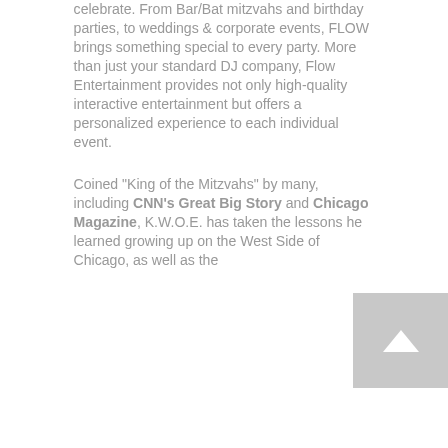celebrate. From Bar/Bat mitzvahs and birthday parties, to weddings & corporate events, FLOW brings something special to every party. More than just your standard DJ company, Flow Entertainment provides not only high-quality interactive entertainment but offers a personalized experience to each individual event.
Coined "King of the Mitzvahs" by many, including CNN's Great Big Story and Chicago Magazine, K.W.O.E. has taken the lessons he learned growing up on the West Side of Chicago, as well as the